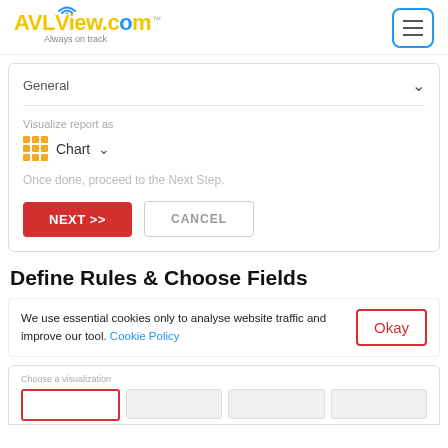[Figure (logo): AVLView.com logo with wifi icon above the 'o', yellow and blue text, and tagline 'Always on track']
General
Visualize report as
Chart
Once done, proceed to the Next Step.
NEXT >>
CANCEL
Define Rules & Choose Fields
We use essential cookies only to analyse website traffic and improve our tool. Cookie Policy
Okay
Choose a visualization